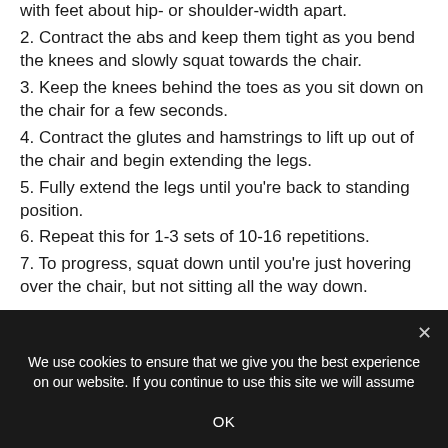with feet about hip- or shoulder-width apart.
2. Contract the abs and keep them tight as you bend the knees and slowly squat towards the chair.
3. Keep the knees behind the toes as you sit down on the chair for a few seconds.
4. Contract the glutes and hamstrings to lift up out of the chair and begin extending the legs.
5. Fully extend the legs until you’re back to standing position.
6. Repeat this for 1-3 sets of 10-16 repetitions.
7. To progress, squat down until you’re just hovering over the chair, but not sitting all the way down.
We use cookies to ensure that we give you the best experience on our website. If you continue to use this site we will assume that you are happy with it.
OK